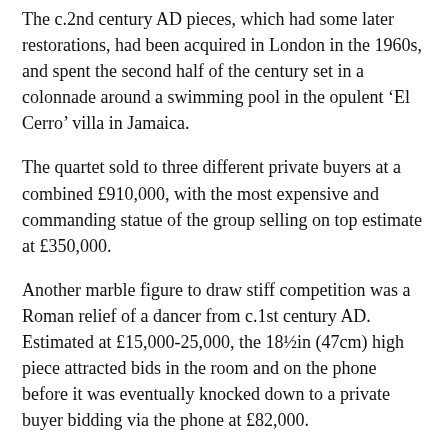The c.2nd century AD pieces, which had some later restorations, had been acquired in London in the 1960s, and spent the second half of the century set in a colonnade around a swimming pool in the opulent ‘El Cerro’ villa in Jamaica.
The quartet sold to three different private buyers at a combined £910,000, with the most expensive and commanding statue of the group selling on top estimate at £350,000.
Another marble figure to draw stiff competition was a Roman relief of a dancer from c.1st century AD. Estimated at £15,000-25,000, the 18½in (47cm) high piece attracted bids in the room and on the phone before it was eventually knocked down to a private buyer bidding via the phone at £82,000.
The dancer, described as being in an unusual pose, came from a French private collection and had